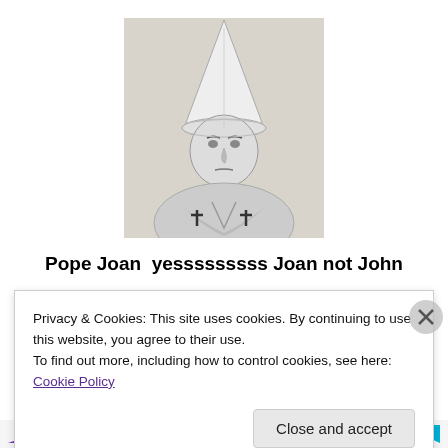[Figure (illustration): Black and white pencil or engraving-style illustration of Pope Joan wearing papal robes with two crosses on the chest and a tall mitre (papal hat). The figure has a stern expression and is shown from the waist up.]
Pope Joan  yesssssssss Joan not John
Pope 855 thru 858
Privacy & Cookies: This site uses cookies. By continuing to use this website, you agree to their use.
To find out more, including how to control cookies, see here: Cookie Policy
Close and accept